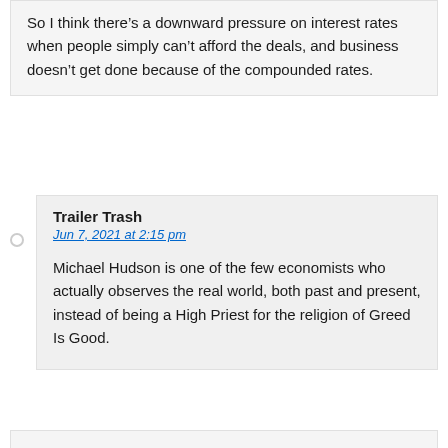So I think there's a downward pressure on interest rates when people simply can't afford the deals, and business doesn't get done because of the compounded rates.
Trailer Trash
Jun 7, 2021 at 2:15 pm
Michael Hudson is one of the few economists who actually observes the real world, both past and present, instead of being a High Priest for the religion of Greed Is Good.